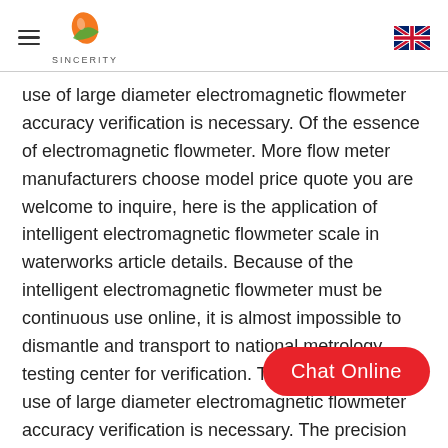SINCERITY
use of large diameter electromagnetic flowmeter accuracy verification is necessary. Of the essence of electromagnetic flowmeter. More flow meter manufacturers choose model price quote you are welcome to inquire, here is the application of intelligent electromagnetic flowmeter scale in waterworks article details. Because of the intelligent electromagnetic flowmeter must be continuous use online, it is almost impossible to dismantle and transport to national metrology testing center for verification. Therefore, for the use of large diameter electromagnetic flowmeter accuracy verification is necessary. The precision of electromagnetic flowmeter verification for the management of the electromagnetic flowmeter, ensure the accuracy and reliability of primitive accu... data, do the validation and check it is al...